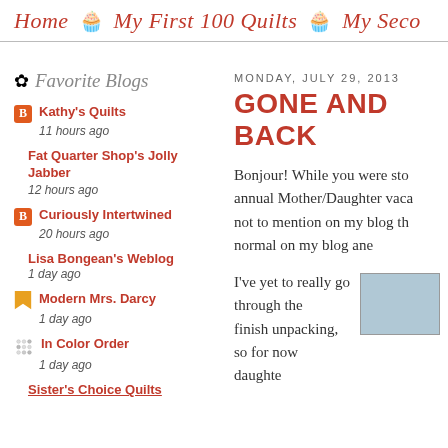Home | My First 100 Quilts | My Seco...
Favorite Blogs
Kathy's Quilts
11 hours ago
Fat Quarter Shop's Jolly Jabber
12 hours ago
Curiously Intertwined
20 hours ago
Lisa Bongean's Weblog
1 day ago
Modern Mrs. Darcy
1 day ago
In Color Order
1 day ago
Sister's Choice Quilts
MONDAY, JULY 29, 2013
GONE AND BACK
Bonjour!  While you were sto... annual Mother/Daughter vaca... not to mention on my blog th... normal on my blog ane...
I've yet to really go through the... finish unpacking, so for now... daughte...
[Figure (photo): Thumbnail photo, bluish-grey image partially visible at bottom right]